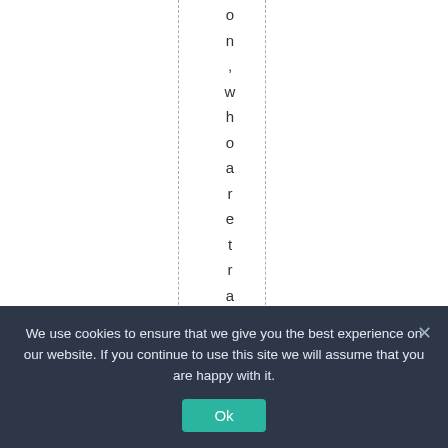on, who are trained to
We use cookies to ensure that we give you the best experience on our website. If you continue to use this site we will assume that you are happy with it.